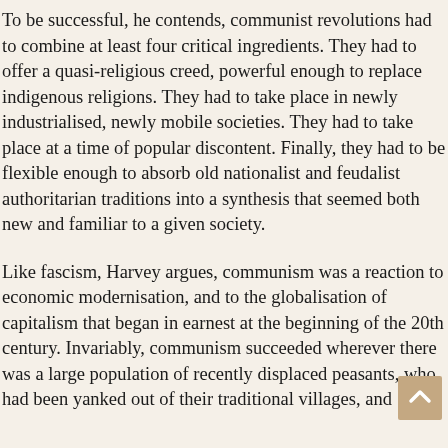To be successful, he contends, communist revolutions had to combine at least four critical ingredients. They had to offer a quasi-religious creed, powerful enough to replace indigenous religions. They had to take place in newly industrialised, newly mobile societies. They had to take place at a time of popular discontent. Finally, they had to be flexible enough to absorb old nationalist and feudalist authoritarian traditions into a synthesis that seemed both new and familiar to a given society.
Like fascism, Harvey argues, communism was a reaction to economic modernisation, and to the globalisation of capitalism that began in earnest at the beginning of the 20th century. Invariably, communism succeeded wherever there was a large population of recently displaced peasants, who had been yanked out of their traditional villages, and